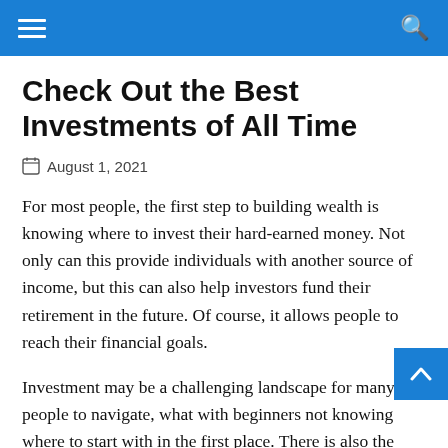Navigation bar with hamburger menu and search icon
Check Out the Best Investments of All Time
August 1, 2021
For most people, the first step to building wealth is knowing where to invest their hard-earned money. Not only can this provide individuals with another source of income, but this can also help investors fund their retirement in the future. Of course, it allows people to reach their financial goals.
Investment may be a challenging landscape for many people to navigate, what with beginners not knowing where to start with in the first place. There is also the stigma that investing is only for the rich. However, there are the right...